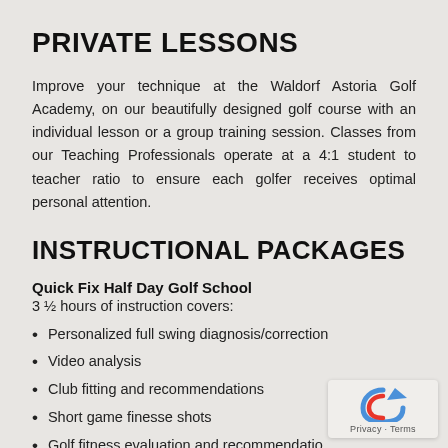PRIVATE LESSONS
Improve your technique at the Waldorf Astoria Golf Academy, on our beautifully designed golf course with an individual lesson or a group training session. Classes from our Teaching Professionals operate at a 4:1 student to teacher ratio to ensure each golfer receives optimal personal attention.
INSTRUCTIONAL PACKAGES
Quick Fix Half Day Golf School
3 ½ hours of instruction covers:
Personalized full swing diagnosis/correction
Video analysis
Club fitting and recommendations
Short game finesse shots
Golf fitness evaluation and recommendations